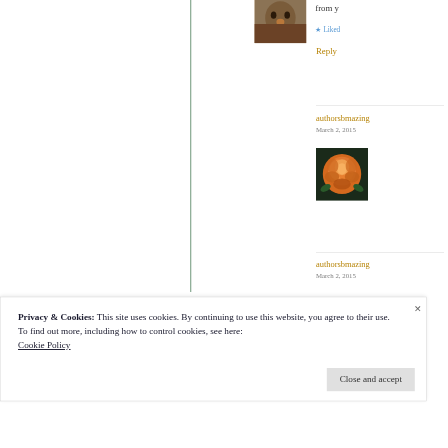[Figure (photo): Profile photo of a person (partially visible face) at the top right area]
from y
★ Liked
Reply
authorsbmazing
March 2, 2015
[Figure (photo): Photo of an orange rose against a dark background]
authorsbmazing
March 2, 2015
Privacy & Cookies: This site uses cookies. By continuing to use this website, you agree to their use.
To find out more, including how to control cookies, see here:
Cookie Policy
Close and accept